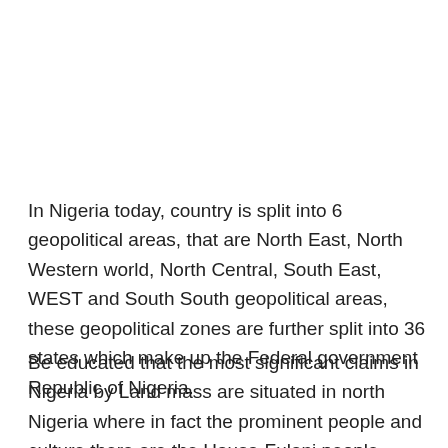In Nigeria today, country is split into 6 geopolitical areas, that are North East, North Western world, North Central, South East, WEST and South South geopolitical areas, these geopolitical zones are further split into 36 states which make up the Federal government Republic of Nigeria.
Be educated that the most significant claims in Nigeria by Land mass are situated in north Nigeria where in fact the prominent people and culture there are the Hausa-Fulani people.